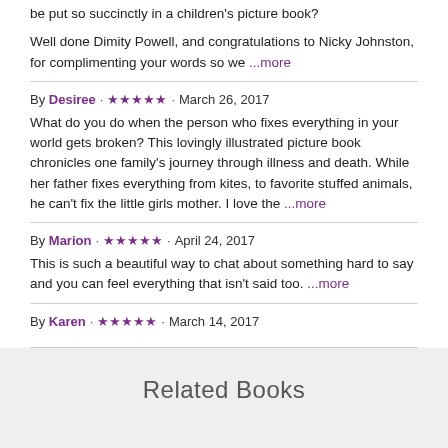be put so succinctly in a children's picture book?
Well done Dimity Powell, and congratulations to Nicky Johnston, for complimenting your words so we ...more
By Desiree · ★★★★★ · March 26, 2017
What do you do when the person who fixes everything in your world gets broken? This lovingly illustrated picture book chronicles one family's journey through illness and death. While her father fixes everything from kites, to favorite stuffed animals, he can't fix the little girls mother. I love the ...more
By Marion · ★★★★★ · April 24, 2017
This is such a beautiful way to chat about something hard to say and you can feel everything that isn't said too. ...more
By Karen · ★★★★★ · March 14, 2017
Related Books